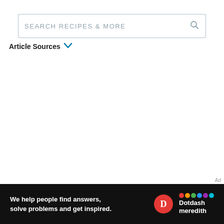SEARCH RECIPES & MORE
Article Sources ∨
[Figure (other): Advertisement banner for Dotdash Meredith with text: We help people find answers, solve problems and get inspired.]
Ad